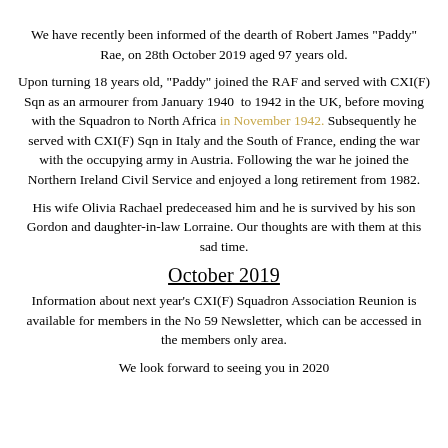[partial title — cropped at top]
We have recently been informed of the dearth of Robert James "Paddy" Rae, on 28th October 2019 aged 97 years old.
Upon turning 18 years old, "Paddy" joined the RAF and served with CXI(F) Sqn as an armourer from January 1940 to 1942 in the UK, before moving with the Squadron to North Africa in November 1942. Subsequently he served with CXI(F) Sqn in Italy and the South of France, ending the war with the occupying army in Austria. Following the war he joined the Northern Ireland Civil Service and enjoyed a long retirement from 1982.
His wife Olivia Rachael predeceased him and he is survived by his son Gordon and daughter-in-law Lorraine. Our thoughts are with them at this sad time.
October 2019
Information about next year's CXI(F) Squadron Association Reunion is available for members in the No 59 Newsletter, which can be accessed in the members only area.
We look forward to seeing you in 2020